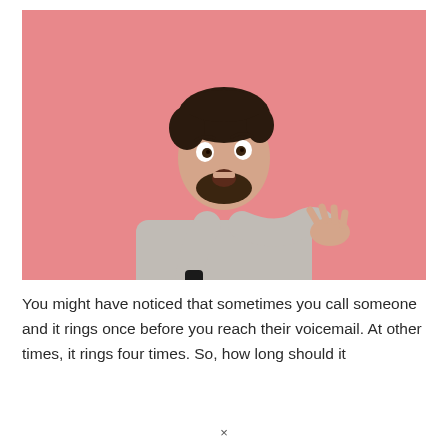[Figure (photo): A man with dark hair and beard holding a phone to his ear with a surprised/confused expression, one hand raised in a shrug gesture. He is wearing a grey long-sleeve shirt. Background is pink/salmon color.]
You might have noticed that sometimes you call someone and it rings once before you reach their voicemail. At other times, it rings four times. So, how long should it